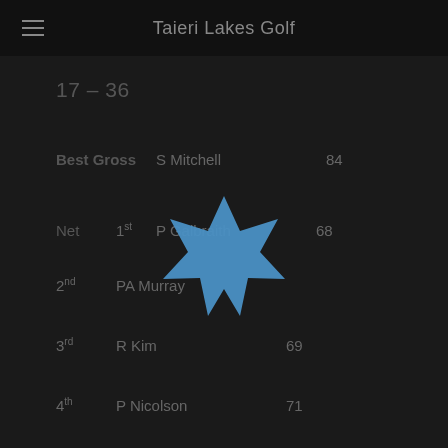Taieri Lakes Golf
17 – 36
Best Gross    S Mitchell    84
Net    1st    P Galbraith    68
2nd    PA Murray
3rd    R Kim    69
4th    P Nicolson    71
Other C Stapleton?
[Figure (illustration): Blue star/badge shape icon centered on the page]